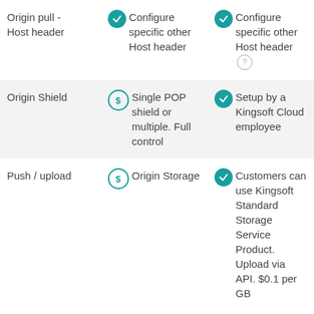| Feature | Option 1 | Option 2 |
| --- | --- | --- |
| Origin pull - Host header | ✔ Configure specific other Host header | ✔ Configure specific other Host header ? |
| Origin Shield | $ Single POP shield or multiple. Full control | ✔ Setup by a Kingsoft Cloud employee |
| Push / upload | $ Origin Storage | ✔ Customers can use Kingsoft Standard Storage Service Product. Upload via API. $0.1 per GB |